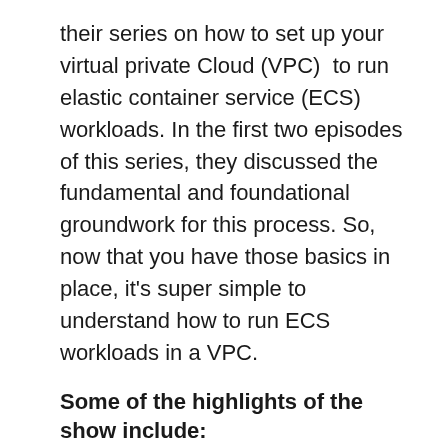their series on how to set up your virtual private Cloud (VPC)  to run elastic container service (ECS) workloads. In the first two episodes of this series, they discussed the fundamental and foundational groundwork for this process. So, now that you have those basics in place, it's super simple to understand how to run ECS workloads in a VPC.
Some of the highlights of the show include:
Host-based ECS involves defining clusters – sets of EC2 hosts that run workloads
Types of ECS: You host the ECS where you